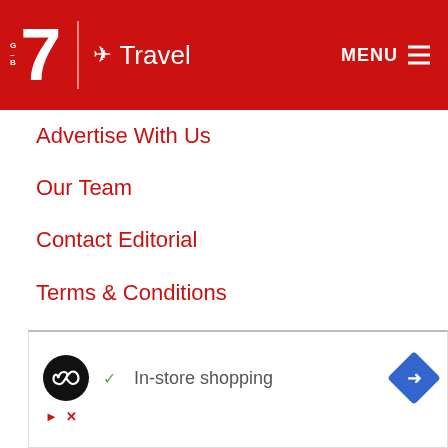G-7 Travel | MENU
Advertise With Us
Our Team
Contact Editorial
Terms & Conditions
Privacy Policy
FOLLOW US
Facebook
Instagram Food
Instagram Travel
[Figure (screenshot): Advertisement banner with a black circle logo with infinity symbol, a green checkmark, 'In-store shopping' text, a blue diamond navigation arrow, and ad close/report icons at bottom left.]